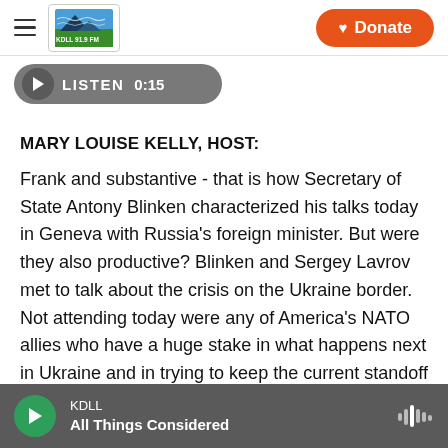[Figure (logo): KDLL radio station logo with stylized mountain/wave graphic, green and blue colors, text 'KDLL 91.9 FM']
[Figure (other): Orange Donate button with heart icon]
[Figure (other): Gray pill-shaped Listen button with play icon and timestamp 0:15]
MARY LOUISE KELLY, HOST:
Frank and substantive - that is how Secretary of State Antony Blinken characterized his talks today in Geneva with Russia's foreign minister. But were they also productive? Blinken and Sergey Lavrov met to talk about the crisis on the Ukraine border. Not attending today were any of America's NATO allies who have a huge stake in what happens next in Ukraine and in trying to keep the current standoff
KDLL
All Things Considered